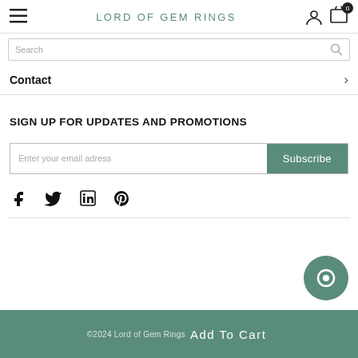LORD OF GEM RINGS
Search
Contact
SIGN UP FOR UPDATES AND PROMOTIONS
Enter your email adress | Subscribe
[Figure (other): Social media icons: Facebook, Twitter, LinkedIn, Pinterest]
[Figure (other): Chat bubble icon (circular, teal background)]
©2024 Lord of Gem Rings | Add To Cart